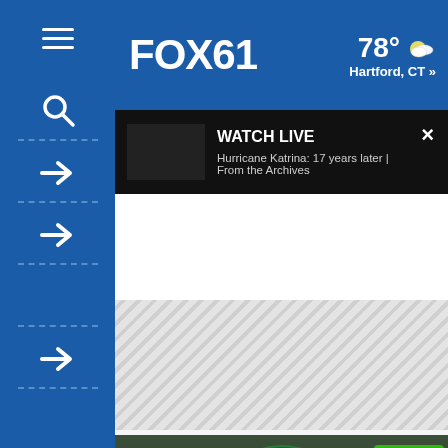FOX61
78° Hartford, CT »
[Figure (screenshot): WATCH LIVE overlay on dark background showing Hurricane Katrina: 17 years later | From the Archives with thumbnail and close button]
[Figure (photo): Starbucks Workers United rally photo with Starbucks logo, play button overlay, green checkmark badge, and text 'an Starbucks offer' at bottom. FY text visible on left.]